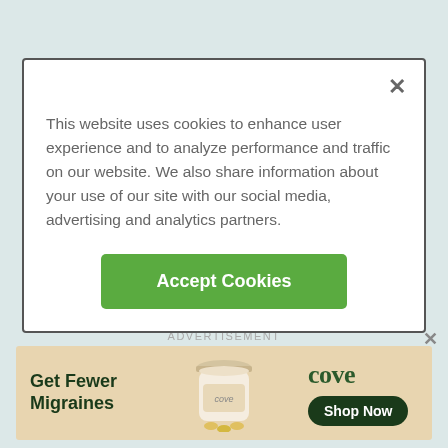[Figure (screenshot): Cookie consent modal dialog with close X button, explanatory text about cookies, and a green 'Accept Cookies' button]
work, play, travel, spend time with your family, or develop new hobbies—you'll find tips on healthy aging that'll keep you on the go and
[Figure (screenshot): Advertisement banner for 'cove' brand showing a jar product with text 'Get Fewer Migraines' and a 'Shop Now' button]